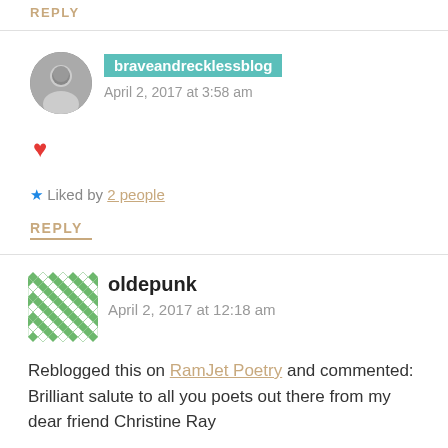REPLY
braveandrecklessblog
April 2, 2017 at 3:58 am
❤
Liked by 2 people
REPLY
oldepunk
April 2, 2017 at 12:18 am
Reblogged this on RamJet Poetry and commented: Brilliant salute to all you poets out there from my dear friend Christine Ray